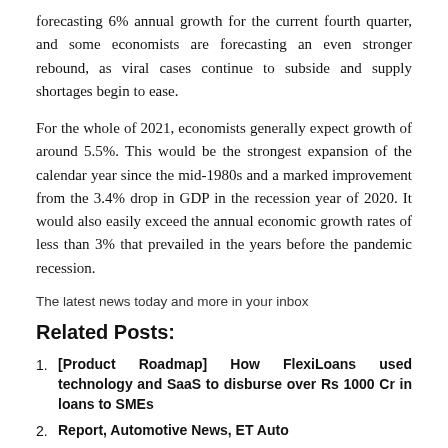forecasting 6% annual growth for the current fourth quarter, and some economists are forecasting an even stronger rebound, as viral cases continue to subside and supply shortages begin to ease.
For the whole of 2021, economists generally expect growth of around 5.5%. This would be the strongest expansion of the calendar year since the mid-1980s and a marked improvement from the 3.4% drop in GDP in the recession year of 2020. It would also easily exceed the annual economic growth rates of less than 3% that prevailed in the years before the pandemic recession.
The latest news today and more in your inbox
Related Posts:
[Product Roadmap] How FlexiLoans used technology and SaaS to disburse over Rs 1000 Cr in loans to SMEs
Report, Automotive News, ET Auto
Inflation forecasts for 2021 increase
“You make such an investment for the long term and then it has to be fair”